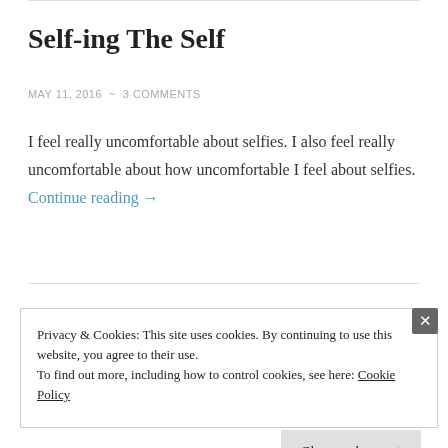Self-ing The Self
MAY 11, 2016 ~ 3 COMMENTS
I feel really uncomfortable about selfies. I also feel really uncomfortable about how uncomfortable I feel about selfies. Continue reading →
Privacy & Cookies: This site uses cookies. By continuing to use this website, you agree to their use.
To find out more, including how to control cookies, see here: Cookie Policy
Close and accept